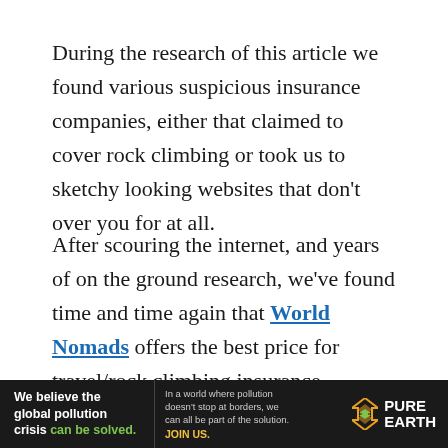During the research of this article we found various suspicious insurance companies, either that claimed to cover rock climbing or took us to sketchy looking websites that don't over you for at all.
After scouring the internet, and years of on the ground research, we've found time and time again that World Nomads offers the best price for travel/rock climbing insurance.
Make sure to click one of the links on this page to ensure
[Figure (other): Advertisement banner for Pure Earth organization. Black background. Left section bold white text: 'We believe the global pollution crisis' with 'can be solved.' in green. Middle section smaller grey text: 'In a world where pollution doesn't stop at borders, we can all be part of the solution.' with 'JOIN US.' in yellow. Right section: Pure Earth logo with diamond/chevron shapes in yellow and green, and 'PURE EARTH' in white bold text.]